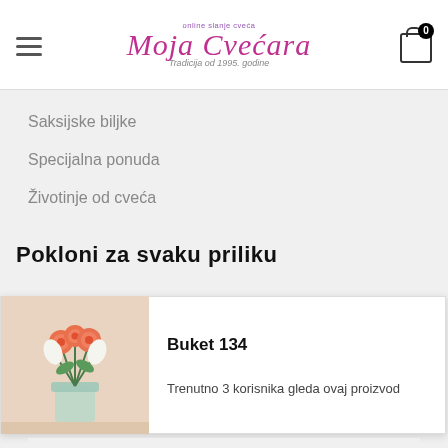Moja Cvećara — online slanje cveća, Tradicija od 1995. godine
Saksijske biljke
Specijalna ponuda
Životinje od cveća
Pokloni za svaku priliku
[Figure (photo): Bouquet of orange roses and white calla lilies in a glass vase]
Buket 134
Trenutno 3 korisnika gleda ovaj proizvod
Poklon korpe
Prave torte